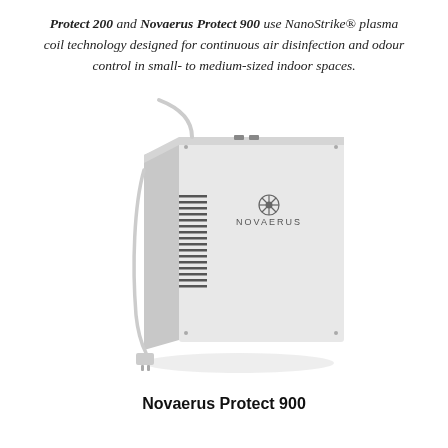Protect 200 and Novaerus Protect 900 use NanoStrike® plasma coil technology designed for continuous air disinfection and odour control in small- to medium-sized indoor spaces.
[Figure (photo): Novaerus Protect 900 air disinfection unit — a white rectangular box-shaped device with ventilation grilles on the left side, the Novaerus logo and snowflake icon on the front, a power cord running from the top, and a plug visible at the bottom left.]
Novaerus Protect 900